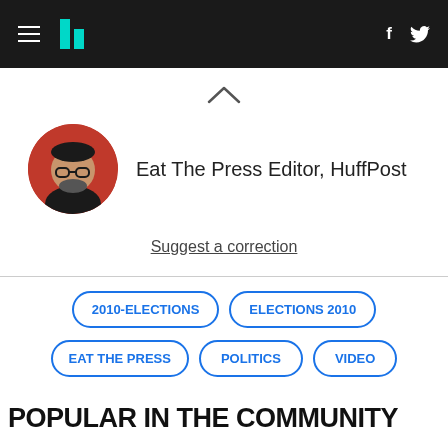HuffPost navigation bar with hamburger menu, logo, Facebook and Twitter icons
[Figure (other): Upward caret / chevron symbol]
[Figure (photo): Circular author avatar photo – man with glasses on red background]
Eat The Press Editor, HuffPost
Suggest a correction
2010-ELECTIONS
ELECTIONS 2010
EAT THE PRESS
POLITICS
VIDEO
POPULAR IN THE COMMUNITY